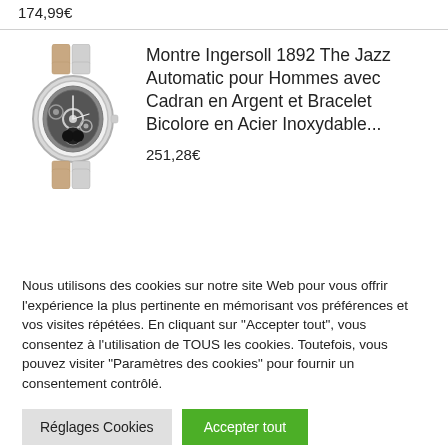174,99€
[Figure (photo): Product photo of Ingersoll 1892 The Jazz Automatic watch with silver skeleton dial and bicolor stainless steel bracelet]
Montre Ingersoll 1892 The Jazz Automatic pour Hommes avec Cadran en Argent et Bracelet Bicolore en Acier Inoxydable...
251,28€
Nous utilisons des cookies sur notre site Web pour vous offrir l'expérience la plus pertinente en mémorisant vos préférences et vos visites répétées. En cliquant sur "Accepter tout", vous consentez à l'utilisation de TOUS les cookies. Toutefois, vous pouvez visiter "Paramètres des cookies" pour fournir un consentement contrôlé.
Réglages Cookies
Accepter tout